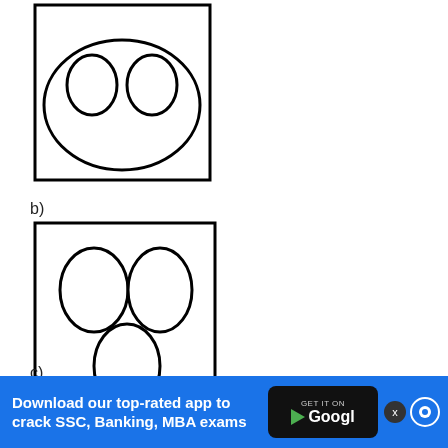[Figure (illustration): A square box containing a large oval/circle at the top with two smaller ovals inside it (like a face), partially cropped at the top of the page]
b)
[Figure (illustration): A square box containing three ovals: two at the top (left and right) and one in the center bottom, arranged in a triangular pattern]
c)
[Figure (illustration): A square box partially visible at the bottom of the page, containing two overlapping ovals at the top (partially cropped)]
Download our top-rated app to crack SSC, Banking, MBA exams